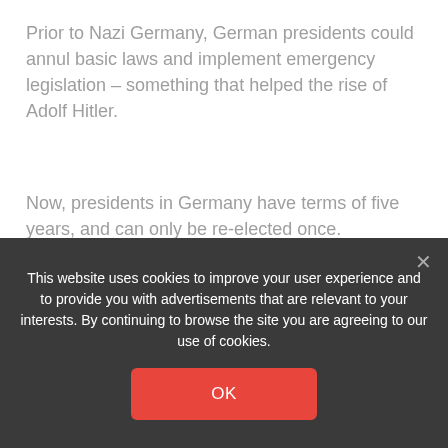Prior to Nazi Germany, German presidents could annul basic laws and implement emergency legislation – something that helped the rise of Adolf Hitler.
Now, presidents in Germany have terms of five years, and can only be re-elected once.
Frank-Walter Steinmeier is a member of the SDP party, of which Mr Scholz is the leader.
DON'T MISS
This website uses cookies to improve your user experience and to provide you with advertisements that are relevant to your interests. By continuing to browse the site you are agreeing to our use of cookies.